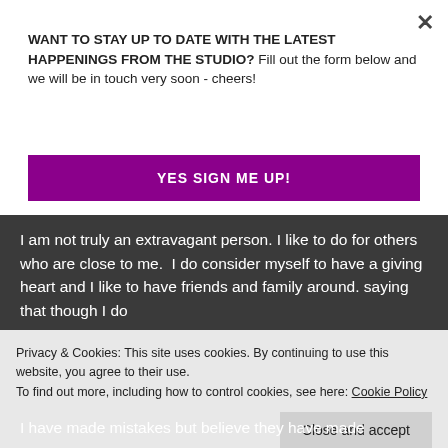WANT TO STAY UP TO DATE WITH THE LATEST HAPPENINGS FROM THE STUDIO? Fill out the form below and we will be in touch very soon - cheers!
YES SIGN ME UP!
I am not truly an extravagant person. I like to do for others who are close to me.  I do consider myself to have a giving heart and I like to have friends and family around. saying that though I do
Privacy & Cookies: This site uses cookies. By continuing to use this website, you agree to their use.
To find out more, including how to control cookies, see here: Cookie Policy
Close and accept
I have made mistakes but believe they have made